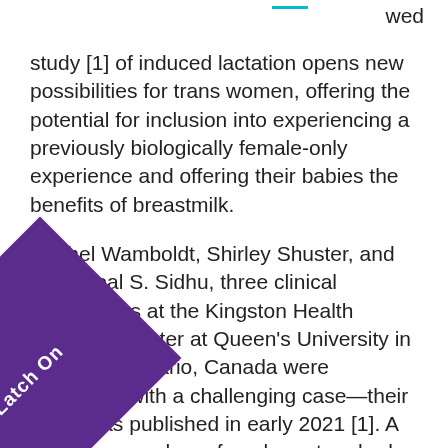study [1] of induced lactation opens new possibilities for trans women, offering the potential for inclusion into experiencing a previously biologically female-only experience and offering their babies the benefits of breastmilk.
Rachel Wamboldt, Shirley Shuster, and Bikrampal S. Sidhu, three clinical researchers at the Kingston Health Sciences Center at Queen's University in Kingston, Ontario, Canada were presented with a challenging case—their study was published in early 2021 [1]. A transwoman whose female partner had been breastfeeding their infant requested treatment to enable her to lactate so her partner could return to